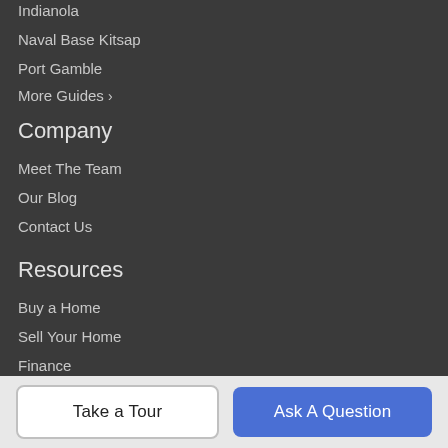Indianola
Naval Base Kitsap
Port Gamble
More Guides >
Company
Meet The Team
Our Blog
Contact Us
Resources
Buy a Home
Sell Your Home
Finance
Get Social
Take a Tour | Ask A Question